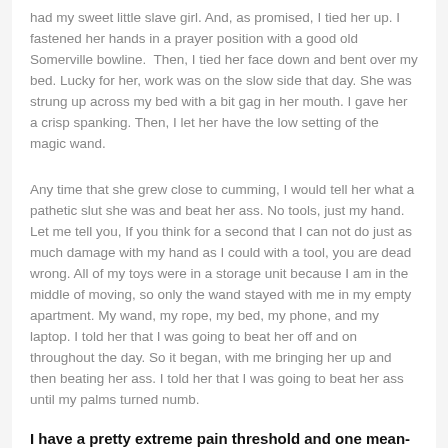had my sweet little slave girl. And, as promised, I tied her up. I fastened her hands in a prayer position with a good old Somerville bowline. Then, I tied her face down and bent over my bed. Lucky for her, work was on the slow side that day. She was strung up across my bed with a bit gag in her mouth. I gave her a crisp spanking. Then, I let her have the low setting of the magic wand.
Any time that she grew close to cumming, I would tell her what a pathetic slut she was and beat her ass. No tools, just my hand. Let me tell you, If you think for a second that I can not do just as much damage with my hand as I could with a tool, you are dead wrong. All of my toys were in a storage unit because I am in the middle of moving, so only the wand stayed with me in my empty apartment. My wand, my rope, my bed, my phone, and my laptop. I told her that I was going to beat her off and on throughout the day. So it began, with me bringing her up and then beating her ass. I told her that I was going to beat her ass until my palms turned numb.
I have a pretty extreme pain threshold and one mean-ass swing.
So, after using the vibrator for the second round, I began beating her for being such a slut again. She knew that If I received a phone call for work, I would leave her there. Now, fear not safety first. In leaving her tied up, the knots that